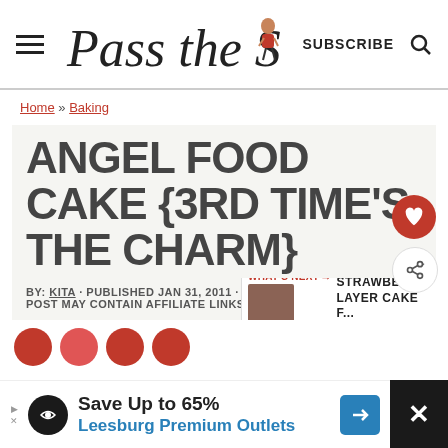Pass the Sushi — SUBSCRIBE
Home » Baking
ANGEL FOOD CAKE {3RD TIME'S THE CHARM}
BY: KITA · PUBLISHED JAN 31, 2011 · UPDATED: MAY 6, 2016 · THIS POST MAY CONTAIN AFFILIATE LINKS
WHAT'S NEXT → Strawberry Layer Cake f...
Save Up to 65% Leesburg Premium Outlets